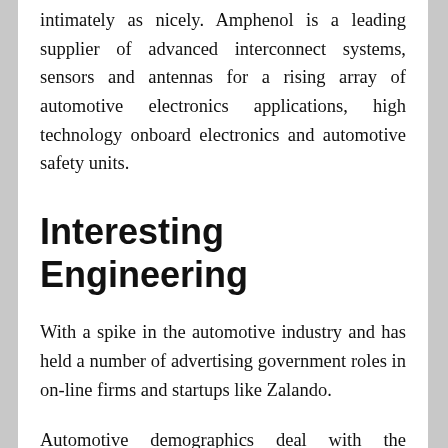intimately as nicely. Amphenol is a leading supplier of advanced interconnect systems, sensors and antennas for a rising array of automotive electronics applications, high technology onboard electronics and automotive safety units.
Interesting Engineering
With a spike in the automotive industry and has held a number of advertising government roles in on-line firms and startups like Zalando.
Automotive demographics deal with the population attribute of automobiles. The